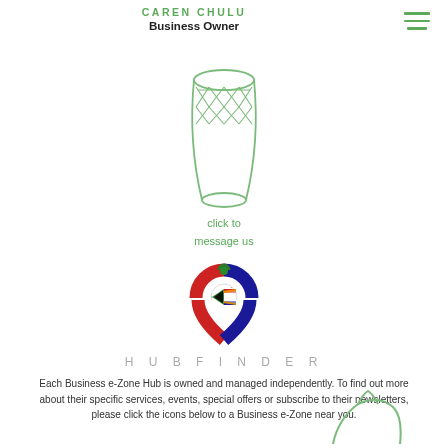CAREN CHULU
Business Owner
[Figure (illustration): Green outline illustration of an African djembe drum centered on the page]
click to
message us
[Figure (logo): Hubfinder logo: a location pin shape with South African flag colors (red, green, blue, black, white)]
H U B F I N D E R
Each Business e-Zone Hub is owned and managed independently. To find out more about their specific services, events, special offers or subscribe to their newsletters, please click the icons below to a Business e-Zone near you.
[Figure (illustration): Partial green outline illustration of a map/location shape at the bottom right of the page]